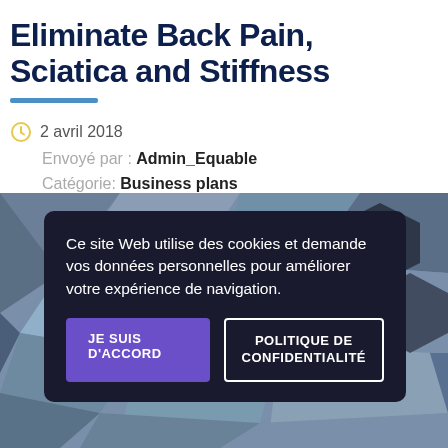Eliminate Back Pain, Sciatica and Stiffness
2 avril 2018
Envoyé par : Admin_Equable
Catégorie: Business plans
Aucun commentaire
[Figure (screenshot): Cookie consent banner overlay on a geometric polygon background image. Text reads: Ce site Web utilise des cookies et demande vos données personnelles pour améliorer votre expérience de navigation. Two buttons: JE SUIS D'ACCORD (purple filled) and POLITIQUE DE CONFIDENTIALITÉ (white border outline).]